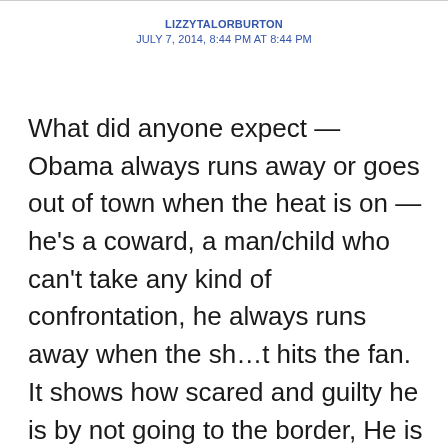LIZZYTALORBURTON
JULY 7, 2014, 8:44 PM AT 8:44 PM
What did anyone expect — Obama always runs away or goes out of town when the heat is on — he's a coward, a man/child who can't take any kind of confrontation, he always runs away when the sh…t hits the fan. It shows how scared and guilty he is by not going to the border, He is not a man, thats for sure. Talk about illegals, he got the job illegally — The American people don't even know who this man is —